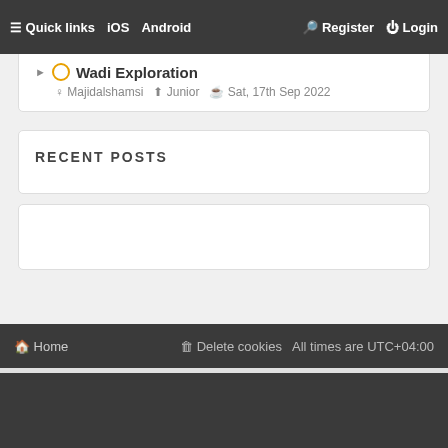≡ Quick links  iOS  Android  Register  Login
▶ 🔘 Wadi Exploration
👤 Majidalshamsi ⬆ Junior ⊙ Sat, 17th Sep 2022
RECENT POSTS
🏠 Home  🗑 Delete cookies  All times are UTC+04:00